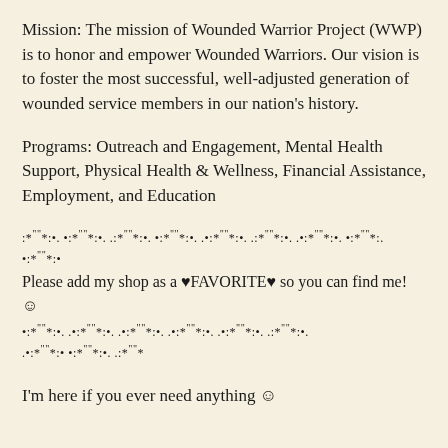Mission: The mission of Wounded Warrior Project (WWP) is to honor and empower Wounded Warriors. Our vision is to foster the most successful, well-adjusted generation of wounded service members in our nation's history.
Programs: Outreach and Engagement, Mental Health Support, Physical Health & Wellness, Financial Assistance, Employment, and Education
:*"""•*:•. •:*"""•*:•. .:*"""•*:•. •:*"""•*:•. .•:*"""•*:•. .:*"""•*:•. .•:*"""•*:•. •:*"""•*:. •:*"""•*:•
Please add my shop as a ♥FAVORITE♥ so you can find me! ☺
•:*"""•*:•. .•:*"""•*:•. .•:*"""•*:•. .•:*"""•*:•. .•:*"""•*:•. .:*"""•*:•. .•:*"""•*:•. .•:*"""•*:•. .:*"""•*
I’m here if you ever need anything ☺